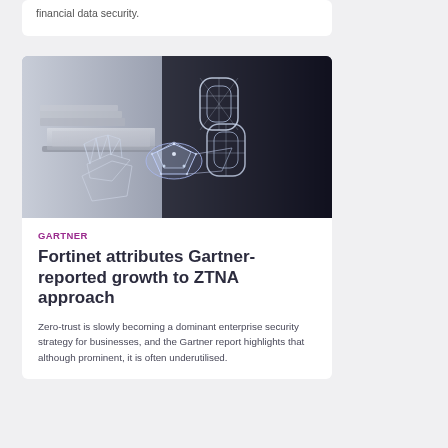financial data security.
[Figure (photo): Digital handshake illustration showing two wireframe/glowing hands clasping against a dark background with a laptop visible, representing cybersecurity and digital trust concepts.]
GARTNER
Fortinet attributes Gartner-reported growth to ZTNA approach
Zero-trust is slowly becoming a dominant enterprise security strategy for businesses, and the Gartner report highlights that although prominent, it is often underutilised.